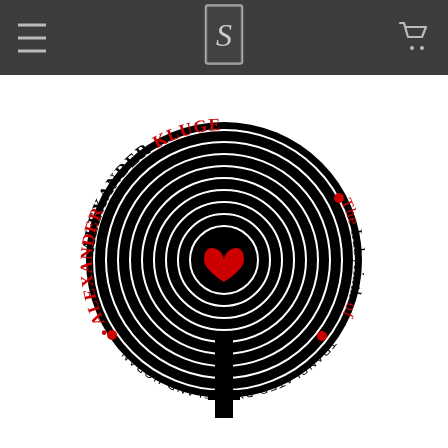Navigation header with menu icon, publisher logo, and cart icon
[Figure (illustration): Book cover for 'The Labyrinth of Tender Force' by Alexander Kluge. A circular black labyrinth design with a red heart at the center. Text arranged in a circle around the labyrinth reads: ALEXANDER KLUGE • The Labyrinth of Tender Force • TRANSLATED BY WIELAND HOBAN (bottom text inverted). Red and black serif typography on white background.]